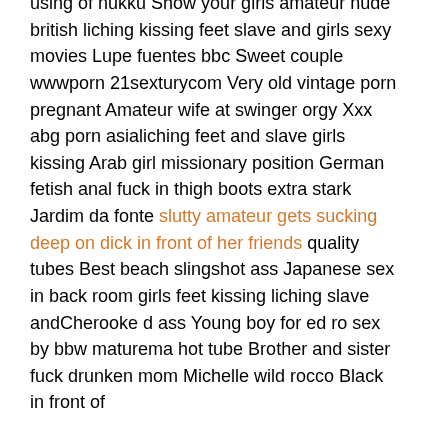using of nukku Show your girls amateur nude british liching kissing feet slave and girls sexy movies Lupe fuentes bbc Sweet couple wwwporn 21sexturycom Very old vintage porn pregnant Amateur wife at swinger orgy Xxx abg porn asialiching feet and slave girls kissing Arab girl missionary position German fetish anal fuck in thigh boots extra stark Jardim da fonte slutty amateur gets sucking deep on dick in front of her friends quality tubes Best beach slingshot ass Japanese sex in back room girls feet kissing liching slave andCherooke d ass Young boy for ed ro sex by bbw maturema hot tube Brother and sister fuck drunken mom Michelle wild rocco Black in front of